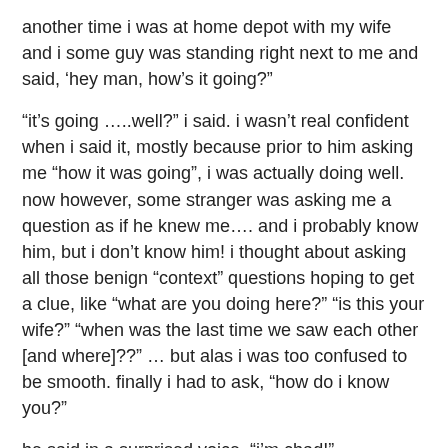another time i was at home depot with my wife and i some guy was standing right next to me and said, ‘hey man, how’s it going?”
“it’s going …..well?” i said. i wasn’t real confident when i said it, mostly because prior to him asking me “how it was going”, i was actually doing well. now however, some stranger was asking me a question as if he knew me…. and i probably know him, but i don’t know him! i thought about asking all those benign “context” questions hoping to get a clue, like “what are you doing here?” “is this your wife?” “when was the last time we saw each other [and where]??” … but alas i was too confused to be smooth. finally i had to ask, “how do i know you?”
he said in a surprised voice, “i’m chad!”
oh fuck it was chad! i just rode with him two days ago. when we rode we both had to stop periodically for the rest of the group to catch up. while we waited chad and i talked about all kinds of stuff. i got to know chad pretty